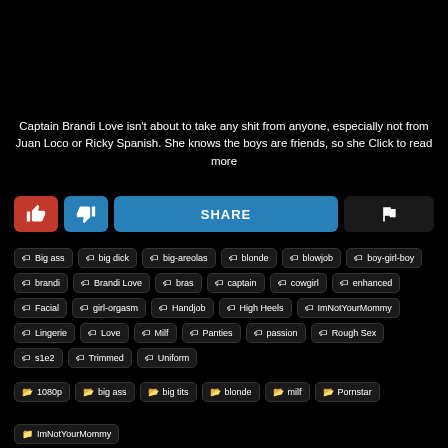Captain Brandi Love isn't about to take any shit from anyone, especially not from Juan Loco or Ricky Spanish. She knows the boys are friends, so she Click to read more
Big ass
big dick
big-areolas
blonde
blowjob
boy-girl-boy
brandi
Brandi Love
bras
captain
cowgirl
enhanced
Facial
girl-orgasm
Handjob
High Heels
ImNotYourMommy
Lingerie
Love
Milf
Panties
passion
Rough Sex
s1e2
Trimmed
Uniform
1080p
big ass
big tits
blonde
milf
Pornstar
ImNotYourMommy